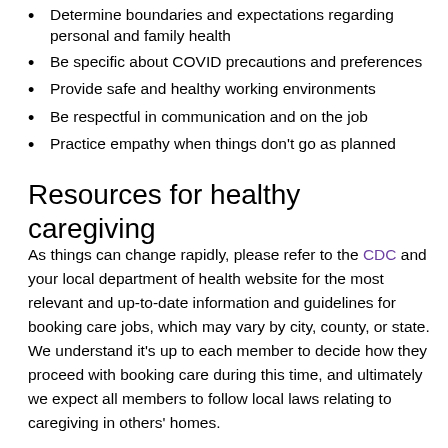Determine boundaries and expectations regarding personal and family health
Be specific about COVID precautions and preferences
Provide safe and healthy working environments
Be respectful in communication and on the job
Practice empathy when things don't go as planned
Resources for healthy caregiving
As things can change rapidly, please refer to the CDC and your local department of health website for the most relevant and up-to-date information and guidelines for booking care jobs, which may vary by city, county, or state. We understand it's up to each member to decide how they proceed with booking care during this time, and ultimately we expect all members to follow local laws relating to caregiving in others' homes.